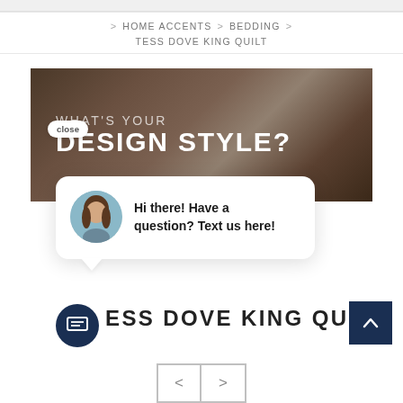> HOME ACCENTS > BEDDING
TESS DOVE KING QUILT
[Figure (photo): Banner image with dark brown/moody interior background and overlaid text reading WHAT'S YOUR DESIGN STYLE?]
Hi there! Have a question? Text us here!
TESS DOVE KING QUILT